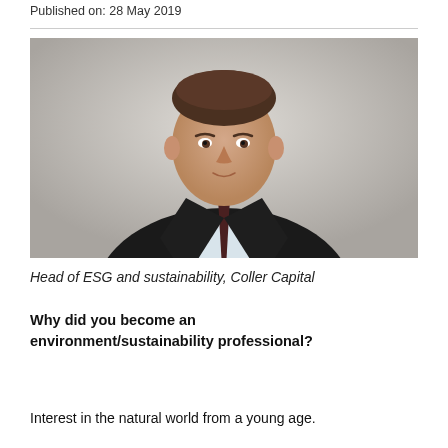Published on: 28 May 2019
[Figure (photo): Professional headshot of a man in a dark suit with a dark tie, light shirt, short brown hair, against a light grey background.]
Head of ESG and sustainability, Coller Capital
Why did you become an environment/sustainability professional?
Interest in the natural world from a young age.